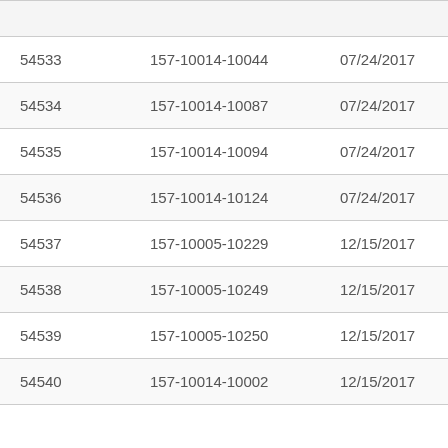|  |  |  |  |
| --- | --- | --- | --- |
| 54533 | 157-10014-10044 | 07/24/2017 | In Pa |
| 54534 | 157-10014-10087 | 07/24/2017 | In Pa |
| 54535 | 157-10014-10094 | 07/24/2017 | In Pa |
| 54536 | 157-10014-10124 | 07/24/2017 | In Pa |
| 54537 | 157-10005-10229 | 12/15/2017 | In Pa |
| 54538 | 157-10005-10249 | 12/15/2017 | In Pa |
| 54539 | 157-10005-10250 | 12/15/2017 | In Pa |
| 54540 | 157-10014-10002 | 12/15/2017 | In Pa |